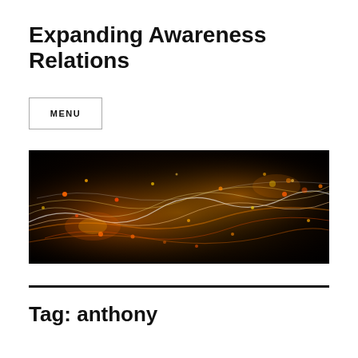Expanding Awareness Relations
MENU
[Figure (photo): Abstract dark background with swirling orange, yellow, and white light trails and glowing particles, resembling a cosmic or energy visualization.]
Tag: anthony